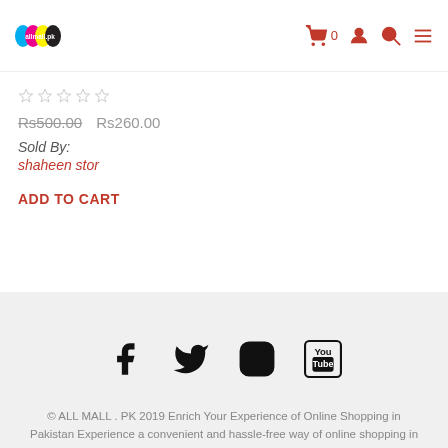allmall.pk header with logo and navigation icons
☆☆☆☆☆
Rs500.00  Rs260.00
Sold By:
shaheen stor
ADD TO CART
[Figure (other): Social media icons: Facebook, Twitter, Instagram, YouTube]
© ALL MALL . PK 2019 Enrich Your Experience of Online Shopping in Pakistan Experience a convenient and hassle-free way of online shopping in Pakistan. allmall.pk takes your style statement into a whole new territory by placing an extensive variety of top-class brands on its online shopping store within easy reach. Shop online at allmall.Pakistan. for